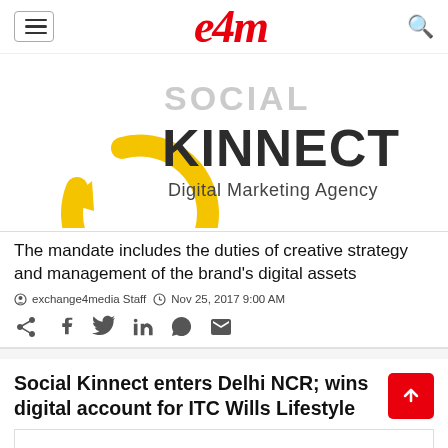e4m (exchange4media logo with hamburger menu and search icon)
[Figure (logo): Social Kinnect Digital Marketing Agency logo — yellow circular arrow icon on left, 'SOCIAL KINNECT' in bold dark text with 'Digital Marketing Agency' subtitle on right]
The mandate includes the duties of creative strategy and management of the brand's digital assets
exchange4media Staff  Nov 25, 2017 9:00 AM
Social share icons: share, facebook, twitter, linkedin, whatsapp, email
Social Kinnect enters Delhi NCR; wins digital account for ITC Wills Lifestyle